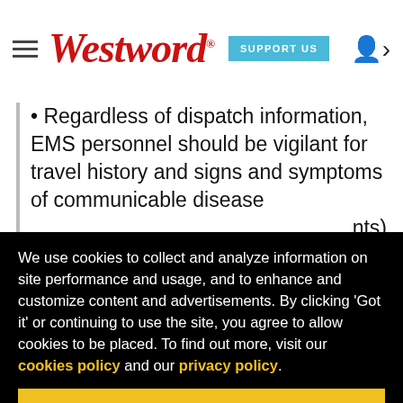Westword — SUPPORT US
• Regardless of dispatch information, EMS personnel should be vigilant for travel history and signs and symptoms of communicable disease ... nts)
... ontrol ... ngs
... on- ... own ... linical
[Figure (screenshot): Cookie consent overlay on black background with text: 'We use cookies to collect and analyze information on site performance and usage, and to enhance and customize content and advertisements. By clicking Got it or continuing to use the site, you agree to allow cookies to be placed. To find out more, visit our cookies policy and our privacy policy.' with a yellow 'Got it!' button.]
... es. ... ay
• have a serious communicable disease until